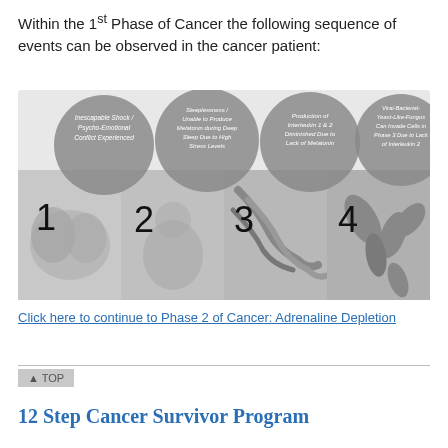Within the 1st Phase of Cancer the following sequence of events can be observed in the cancer patient:
[Figure (infographic): Four-step infographic showing the sequence of events in the 1st Phase of Cancer: 1) Inescapable Shock / Psycho-Emotional Conflict Experienced, 2) Sleeplessness / Unable to Produce Melatonin during Deep Sleep Due to High Stress Levels, 3) Production of Interleukin 1 & 2 Diminished Due to Lack of Melatonin, 4) Viral-Bacterial-Yeast-Like-Fungus Can Invade Cells in Phase 3 Due to Lack of Interleukin 2. Each step has a gray circle with italic text and a number, overlaid on grayscale images.]
Click here to continue to Phase 2 of Cancer: Adrenaline Depletion
12 Step Cancer Survivor Program